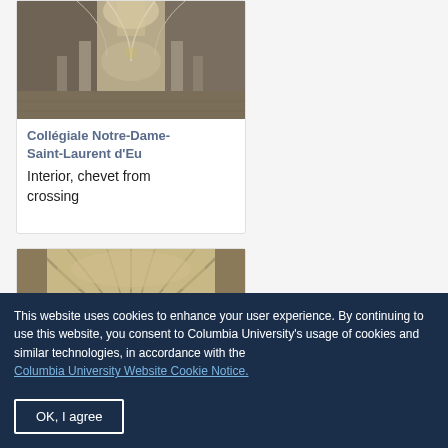[Figure (photo): Interior of Collégiale Notre-Dame-Saint-Laurent d'Eu, view toward chevet showing gothic arches and nave]
Collégiale Notre-Dame-Saint-Laurent d'Eu
Interior, chevet from crossing
[Figure (photo): Interior gothic vaulted ceiling of a cathedral, view upward showing ribbed vaulting]
This website uses cookies to enhance your user experience. By continuing to use this website, you consent to Columbia University's usage of cookies and similar technologies, in accordance with the Columbia University Website Cookie Notice.
OK, I agree